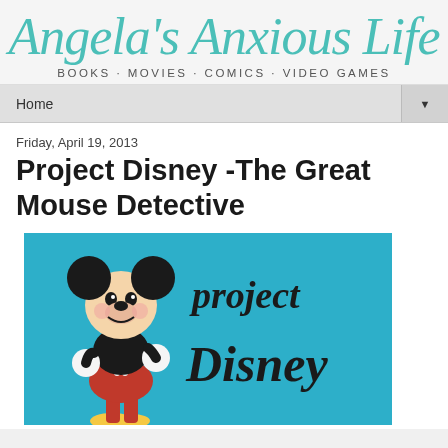Angela's Anxious Life
BOOKS · MOVIES · COMICS · VIDEO GAMES
Home
Friday, April 19, 2013
Project Disney -The Great Mouse Detective
[Figure (illustration): Project Disney banner image with Mickey Mouse cartoon character on a teal/blue background with cursive 'Project Disney' text]